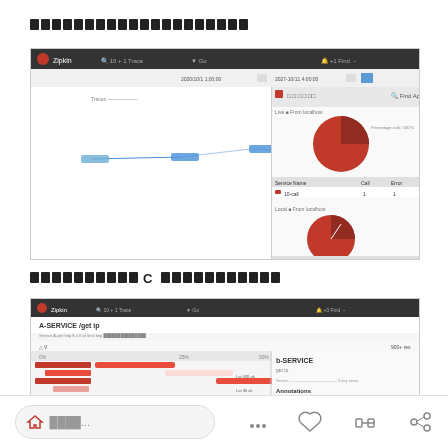█████████████████████
[Figure (screenshot): Zipkin distributed tracing UI showing a trace dependency graph on the left with connecting lines between services, and a panel on the right showing pie charts for service dependencies with service name, call and error columns]
██████████ C ████████████
[Figure (screenshot): Zipkin trace detail view showing A-SERVICE /get trace with span breakdown including B-SERVICE /get spans displayed as horizontal bars in red/pink colors, and a side panel showing B-SERVICE annotation details]
████...
0